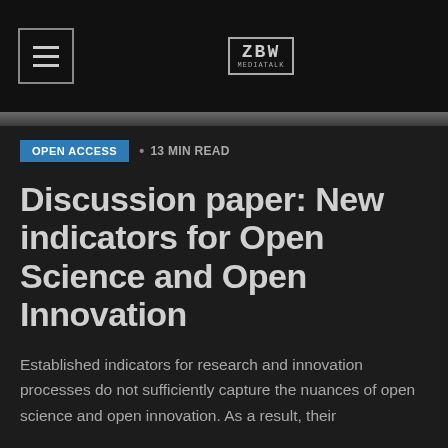[Figure (logo): ZBW logo with pixelated/blocky text style in a bordered box, centered in a black navigation bar with a hamburger menu icon on the left]
OPEN ACCESS · 13 MIN READ
Discussion paper: New indicators for Open Science and Open Innovation
Established indicators for research and innovation processes do not sufficiently capture the nuances of open science and open innovation. As a result, their